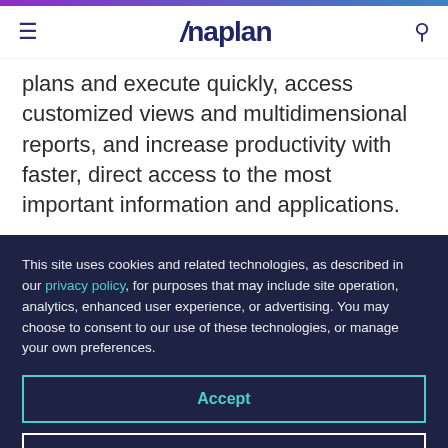Anaplan
plans and execute quickly, access customized views and multidimensional reports, and increase productivity with faster, direct access to the most important information and applications.
This site uses cookies and related technologies, as described in our privacy policy, for purposes that may include site operation, analytics, enhanced user experience, or advertising. You may choose to consent to our use of these technologies, or manage your own preferences.
Accept
Decline
Manage settings